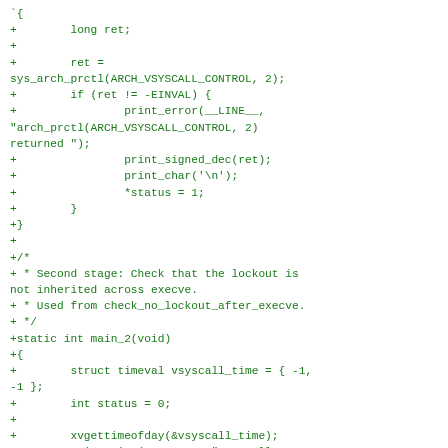[Figure (other): Source code diff showing C code additions: long ret variable declaration, sys_arch_prctl call, error checking, print functions, static int main_2 function with struct timeval and vsyscall time operations]